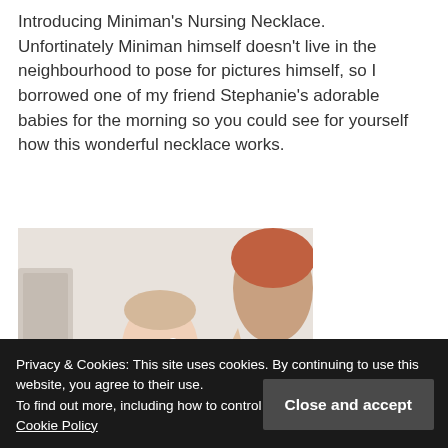Introducing Miniman's Nursing Necklace. Unfortinately Miniman himself doesn't live in the neighbourhood to pose for pictures himself, so I borrowed one of my friend Stephanie's adorable babies for the morning so you could see for yourself how this wonderful necklace works.
[Figure (photo): A baby with a serious expression being shown something by a person with reddish hair, in a bright indoor setting.]
Privacy & Cookies: This site uses cookies. By continuing to use this website, you agree to their use. To find out more, including how to control cookies, see here: Our Cookie Policy
baby is nursing, or playing, or snuggling